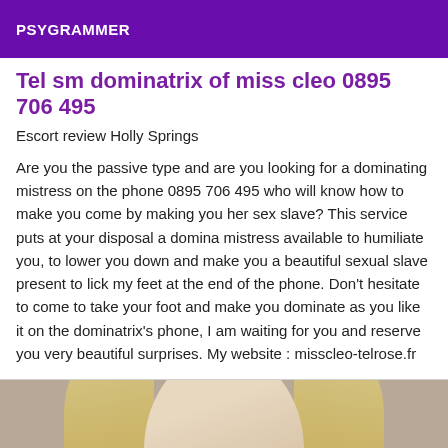PSYGRAMMER
Tel sm dominatrix of miss cleo 0895 706 495
Escort review Holly Springs
Are you the passive type and are you looking for a dominating mistress on the phone 0895 706 495 who will know how to make you come by making you her sex slave? This service puts at your disposal a domina mistress available to humiliate you, to lower you down and make you a beautiful sexual slave present to lick my feet at the end of the phone. Don't hesitate to come to take your foot and make you dominate as you like it on the dominatrix's phone, I am waiting for you and reserve you very beautiful surprises. My website : misscleo-telrose.fr
[Figure (photo): Partial photo of a blonde woman's face, cropped showing forehead and nose area]